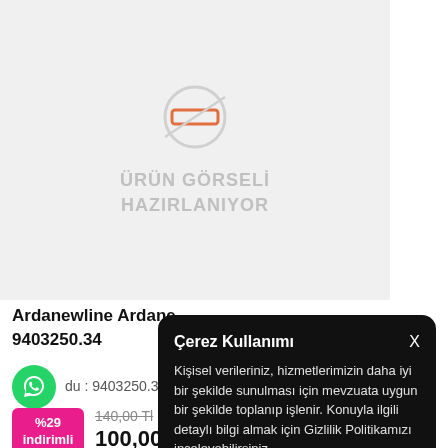[Figure (illustration): Product image placeholder with a camera/image icon crossed out and text 'ÜRÜN GÖRSELİ HAZIRLANIYOR' in gray on a light gray background]
Ardanewline Ardane... 9403250.34
du : 9403250.34
%29 indirimli
140,00 Tl
100,00 Tl
Çerez Kullanımı
Kişisel verileriniz, hizmetlerimizin daha iyi bir şekilde sunulması için mevzuata uygun bir şekilde toplanıp işlenir. Konuyla ilgili detaylı bilgi almak için Gizlilik Politikamızı inceleyebilirsiniz.